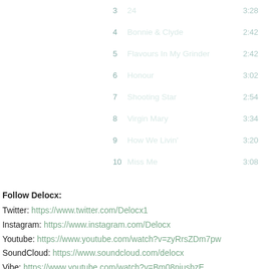| # | Title | Duration |
| --- | --- | --- |
| 3 | 24 | 3:28 |
| 4 | Bonnie & Clyde | 2:42 |
| 5 | Flavours In My Grinder | 2:42 |
| 6 | Honour | 3:02 |
| 7 | Shooting Star | 2:54 |
| 8 | Virgin Mary | 3:34 |
| 9 | How We Livin' | 3:20 |
| 10 | Miss Me | 3:08 |
Follow Delocx: Twitter: https://www.twitter.com/Delocx1 Instagram: https://www.instagram.com/Delocx Youtube: https://www.youtube.com/watch?v=zyRrsZDm7pw SoundCloud: https://www.soundcloud.com/delocx Vibe: https://www.youtube.com/watch?v=Bm08niusbzE Back now: https://www.youtube.com/watch?v=yfJCqlaHiC4 Spotify: